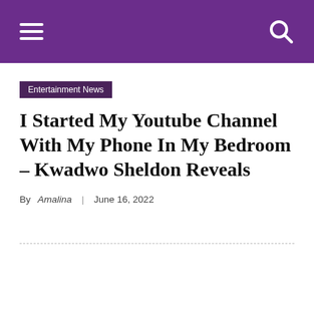Entertainment News
I Started My Youtube Channel With My Phone In My Bedroom – Kwadwo Sheldon Reveals
By Amalina | June 16, 2022